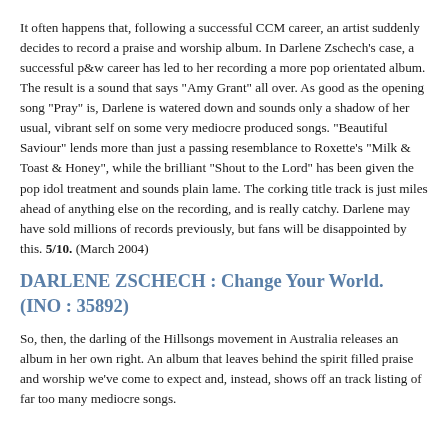It often happens that, following a successful CCM career, an artist suddenly decides to record a praise and worship album. In Darlene Zschech's case, a successful p&w career has led to her recording a more pop orientated album. The result is a sound that says "Amy Grant" all over. As good as the opening song "Pray" is, Darlene is watered down and sounds only a shadow of her usual, vibrant self on some very mediocre produced songs. "Beautiful Saviour" lends more than just a passing resemblance to Roxette's "Milk & Toast & Honey", while the brilliant "Shout to the Lord" has been given the pop idol treatment and sounds plain lame. The corking title track is just miles ahead of anything else on the recording, and is really catchy. Darlene may have sold millions of records previously, but fans will be disappointed by this. 5/10. (March 2004)
DARLENE ZSCHECH : Change Your World. (INO : 35892)
So, then, the darling of the Hillsongs movement in Australia releases an album in her own right. An album that leaves behind the spirit filled praise and worship we've come to expect and, instead, shows off an track listing of far too many mediocre songs.